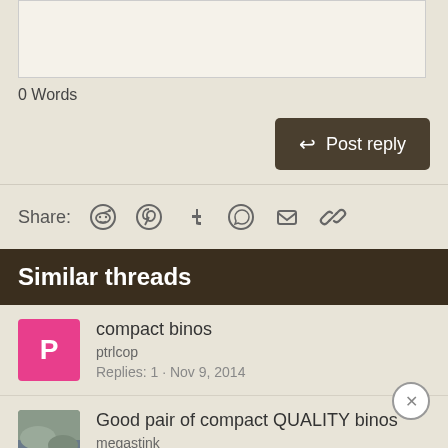0 Words
Post reply
Share:
Similar threads
compact binos
ptrlcop
Replies: 1 · Nov 9, 2014
Good pair of compact QUALITY binos
megastink
Replies: 10 · Jan 5, 2021
compact scope for compact rifle